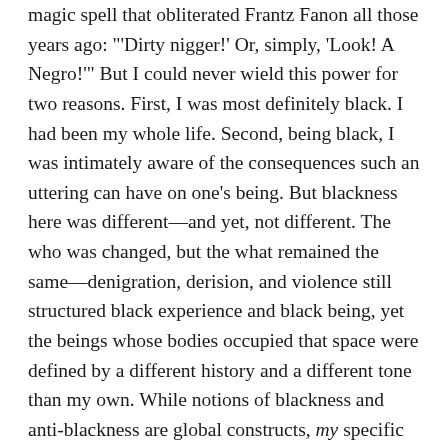magic spell that obliterated Frantz Fanon all those years ago: "'Dirty nigger!' Or, simply, 'Look! A Negro!'" But I could never wield this power for two reasons. First, I was most definitely black. I had been my whole life. Second, being black, I was intimately aware of the consequences such an uttering can have on one's being. But blackness here was different—and yet, not different. The who was changed, but the what remained the same—denigration, derision, and violence still structured black experience and black being, yet the beings whose bodies occupied that space were defined by a different history and a different tone than my own. While notions of blackness and anti-blackness are global constructs, my specific blackness was not. My blackness did not travel, but had been left behind, confined to the geo-political borders of America. For the first time in my life, my skin was not a symbol of lesser than, but the sign had flipped, and with it catapulted my being into